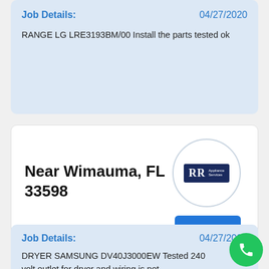Job Details:    04/27/2020
RANGE LG LRE3193BM/00 Install the parts tested ok
Near Wimauma, FL 33598
[Figure (logo): RR Appliance Services logo in a circle, with a blue rectangle background and white text. Below the circle is a blue button labeled Joseph.]
Job Details:    04/27/2020
DRYER SAMSUNG DV40J3000EW Tested 240 volt outlet for dryer and wiring is not